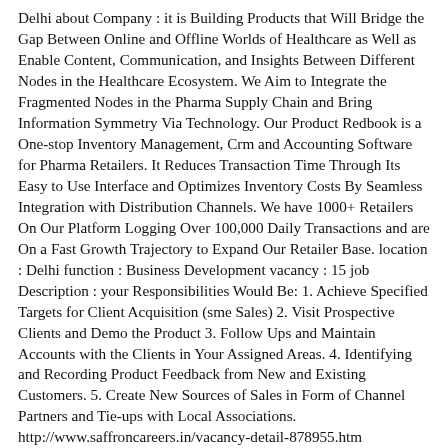Delhi about Company : it is Building Products that Will Bridge the Gap Between Online and Offline Worlds of Healthcare as Well as Enable Content, Communication, and Insights Between Different Nodes in the Healthcare Ecosystem. We Aim to Integrate the Fragmented Nodes in the Pharma Supply Chain and Bring Information Symmetry Via Technology. Our Product Redbook is a One-stop Inventory Management, Crm and Accounting Software for Pharma Retailers. It Reduces Transaction Time Through Its Easy to Use Interface and Optimizes Inventory Costs By Seamless Integration with Distribution Channels. We have 1000+ Retailers On Our Platform Logging Over 100,000 Daily Transactions and are On a Fast Growth Trajectory to Expand Our Retailer Base. location : Delhi function : Business Development vacancy : 15 job Description : your Responsibilities Would Be: 1. Achieve Specified Targets for Client Acquisition (sme Sales) 2. Visit Prospective Clients and Demo the Product 3. Follow Ups and Maintain Accounts with the Clients in Your Assigned Areas. 4. Identifying and Recording Product Feedback from New and Existing Customers. 5. Create New Sources of Sales in Form of Channel Partners and Tie-ups with Local Associations. http://www.saffroncareers.in/vacancy-detail-878955.htm http://www.saffroncareers.in/vacancy-detail-878955.htm Mon, 02 Dec 2019 00:00:00 +0530 Business Development Representative- Noida about Company : it is Building Products that Will Bridge the Gap Between Online and Offline Worlds of Healthcare as Well as